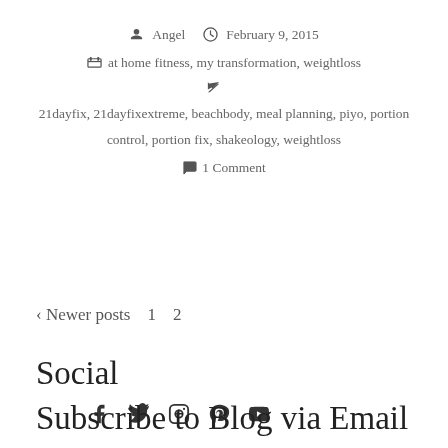Angel  February 9, 2015
at home fitness, my transformation, weightloss
21dayfix, 21dayfixextreme, beachbody, meal planning, piyo, portion control, portion fix, shakeology, weightloss
1 Comment
< Newer posts  1  2
Social
[Figure (other): Social media icons: Facebook, Twitter, Instagram, Pinterest, YouTube]
Subscribe to Blog via Email